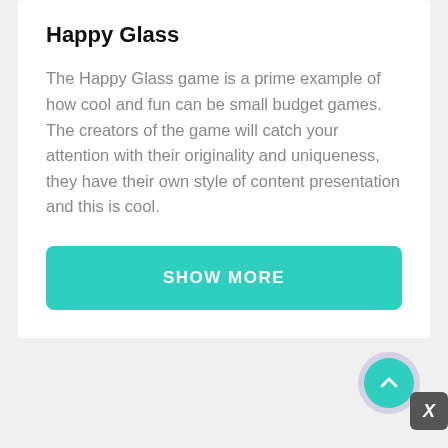Happy Glass
The Happy Glass game is a prime example of how cool and fun can be small budget games. The creators of the game will catch your attention with their originality and uniqueness, they have their own style of content presentation and this is cool.
[Figure (other): Teal 'SHOW MORE' button, wide rounded rectangle]
[Figure (other): Teal scroll-to-top circular button with upward chevron, surrounded by translucent purple halo, with a dark 'X' close button partially visible at bottom right]